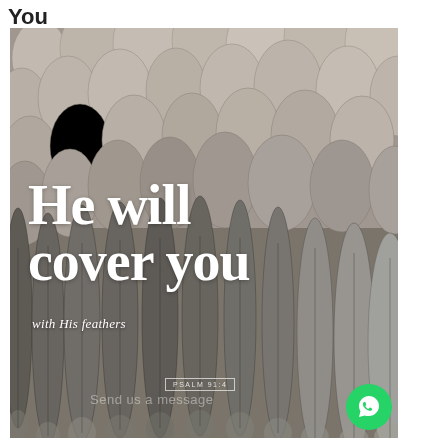You
[Figure (photo): Close-up photograph of bird feathers in grey/brown tones, overlaid with white serif text reading 'He will cover you with His feathers' and a Psalm 91:4 reference box. A green WhatsApp button appears in the bottom right corner.]